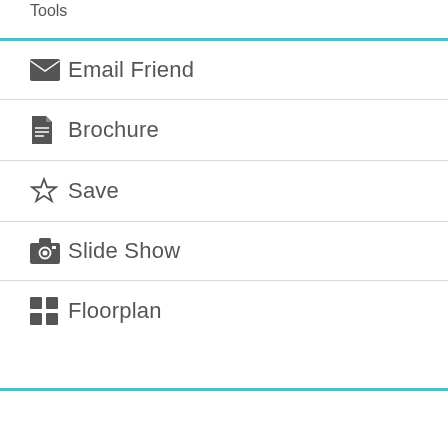Email Friend
Brochure
Save
Slide Show
Floorplan